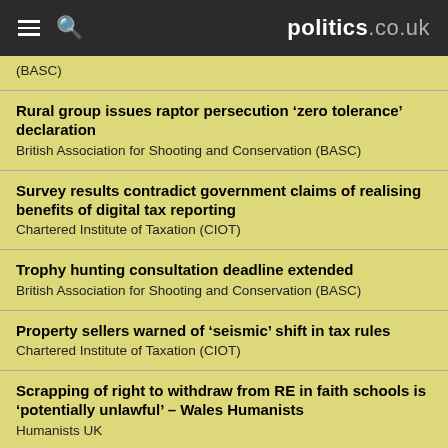politics.co.uk
(BASC)
Rural group issues raptor persecution ‘zero tolerance’ declaration
British Association for Shooting and Conservation (BASC)
Survey results contradict government claims of realising benefits of digital tax reporting
Chartered Institute of Taxation (CIOT)
Trophy hunting consultation deadline extended
British Association for Shooting and Conservation (BASC)
Property sellers warned of ‘seismic’ shift in tax rules
Chartered Institute of Taxation (CIOT)
Scrapping of right to withdraw from RE in faith schools is ‘potentially unlawful’ – Wales Humanists
Humanists UK